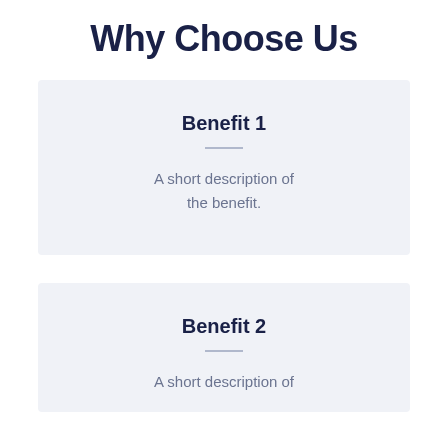Why Choose Us
Benefit 1
A short description of the benefit.
Benefit 2
A short description of